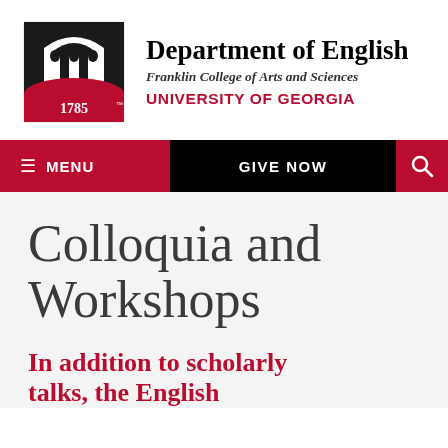[Figure (logo): University of Georgia logo: black arch with columns above a red semicircle with '1785' text]
Department of English
Franklin College of Arts and Sciences
UNIVERSITY OF GEORGIA
≡ MENU   GIVE NOW   🔍
Colloquia and Workshops
In addition to scholarly talks, the English...